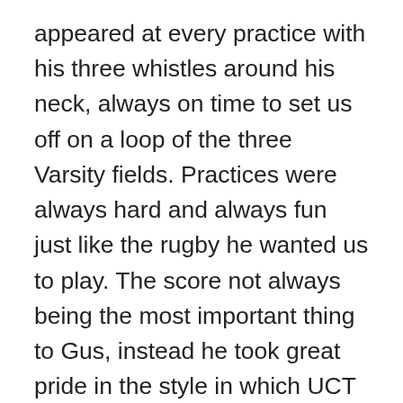appeared at every practice with his three whistles around his neck, always on time to set us off on a loop of the three Varsity fields. Practices were always hard and always fun just like the rugby he wanted us to play. The score not always being the most important thing to Gus, instead he took great pride in the style in which UCT played the game and the number of tries they scored. Later I came to select and coach with Gus and it was there that he made even more of an impression on me. When no-one else wanted to touch the UCT 1stXV in 1997 Gus in his inimitable way just said, “Just give me fifteen players and I’ll coach them.” A merry band of pilgrims both